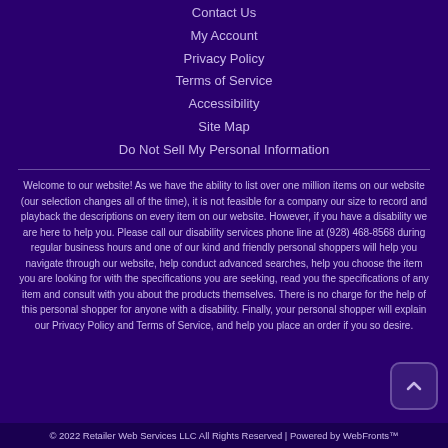Contact Us
My Account
Privacy Policy
Terms of Service
Accessibility
Site Map
Do Not Sell My Personal Information
Welcome to our website! As we have the ability to list over one million items on our website (our selection changes all of the time), it is not feasible for a company our size to record and playback the descriptions on every item on our website. However, if you have a disability we are here to help you. Please call our disability services phone line at (928) 468-8568 during regular business hours and one of our kind and friendly personal shoppers will help you navigate through our website, help conduct advanced searches, help you choose the item you are looking for with the specifications you are seeking, read you the specifications of any item and consult with you about the products themselves. There is no charge for the help of this personal shopper for anyone with a disability. Finally, your personal shopper will explain our Privacy Policy and Terms of Service, and help you place an order if you so desire.
© 2022 Retailer Web Services LLC All Rights Reserved | Powered by WebFronts™